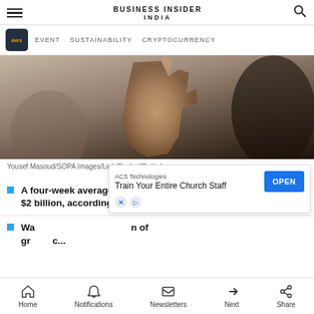BUSINESS INSIDER INDIA
EVENT   SUSTAINABILITY   CRYPTOCURRENCY
[Figure (photo): Close-up photo of a hand holding something, dark blurred figure in background]
Yousef Masoud/SOPA Images/LightRocket/Getty Images
A four-week average of share buybacks hit a record of nearly $2 billion, according to research from Bank of America.
Wall Street analysts see 2022 shaping up as another year of growth...